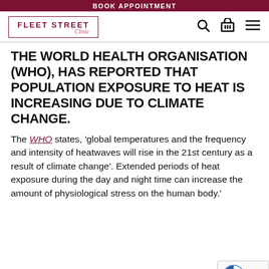BOOK APPOINTMENT
[Figure (logo): Fleet Street Clinic logo in a rectangular border with red text]
THE WORLD HEALTH ORGANISATION (WHO), HAS REPORTED THAT POPULATION EXPOSURE TO HEAT IS INCREASING DUE TO CLIMATE CHANGE.
The WHO states, 'global temperatures and the frequency and intensity of heatwaves will rise in the 21st century as a result of climate change'. Extended periods of heat exposure during the day and night time can increase the amount of physiological stress on the human body.'
The stress caused by heat exposure exacerbates the